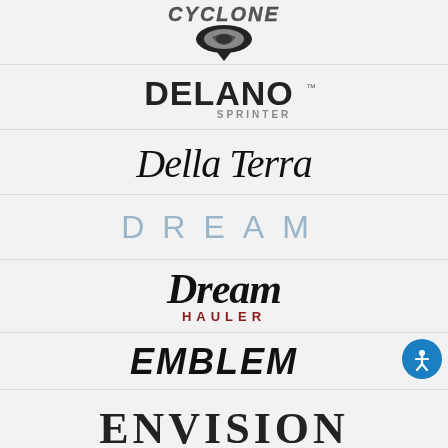[Figure (logo): Cyclone logo with stylized C emblem and pointed shield shape]
[Figure (logo): DELANO SPRINTER logo in bold sans-serif with superscript TM]
[Figure (logo): Della Terra logo in cursive/script black lettering]
[Figure (logo): DREAM logo in spaced light blue/gray uppercase letters]
[Figure (logo): Dream Hauler logo with script Dream and HAULER in red small caps]
[Figure (logo): EMBLEM logo in bold italic black letters]
[Figure (logo): ENVISION logo in large serif uppercase letters (partially visible)]